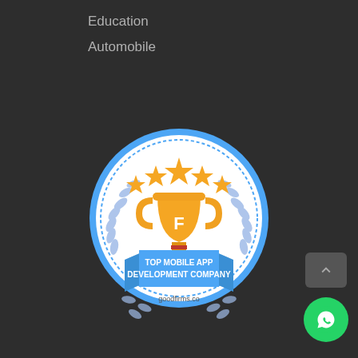Education
Automobile
[Figure (logo): GoodFirms badge: Top Mobile App Development Company. Circular blue badge with a gold trophy in the center, five gold stars above it, laurel branches on the sides, and a blue ribbon banner reading 'TOP MOBILE APP DEVELOPMENT COMPANY' with 'goodfirms.co' below.]